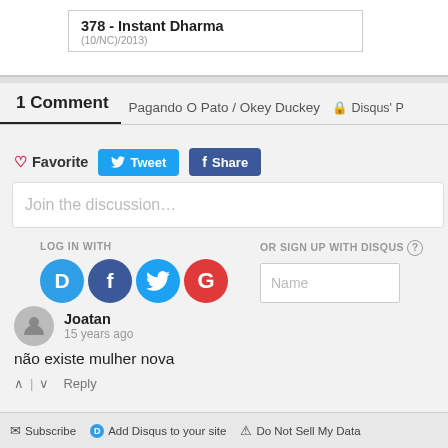378 - Instant Dharma
1 Comment   Pagando O Pato / Okey Duckey   Disqus' P
Favorite   Tweet   Share
Join the discussion…
LOG IN WITH
OR SIGN UP WITH DISQUS ?
Name
Joatan
15 years ago
não existe mulher nova
↑ | ↓   Reply
Subscribe   Add Disqus to your site   Do Not Sell My Data